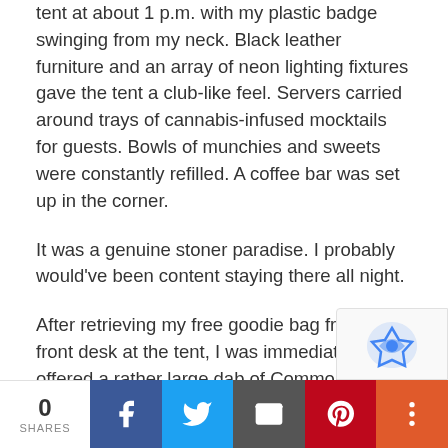tent at about 1 p.m. with my plastic badge swinging from my neck. Black leather furniture and an array of neon lighting fixtures gave the tent a club-like feel. Servers carried around trays of cannabis-infused mocktails for guests. Bowls of munchies and sweets were constantly refilled. A coffee bar was set up in the corner.
It was a genuine stoner paradise. I probably would've been content staying there all night.
After retrieving my free goodie bag from the front desk at the tent, I was immediately offered a rather large dab of Common Citizen's Peach Pie concentrate. And another. And then another. From there, the rest of the unseasonably warm spring afternoon last weekend is all a bit hazy.
Smoking cannabis has never been much of a so
0 SHARES | Facebook | Twitter | Email | Pinterest | More